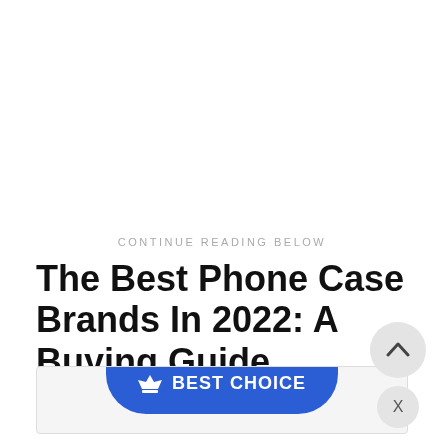CONTINUE READING BELOW
The Best Phone Case Brands In 2022: A Buying Guide
[Figure (other): Blue 'BEST CHOICE' button with crown icon, part of a product card UI element at the bottom of the page. Also shows a scroll-up circular button and a close X button.]